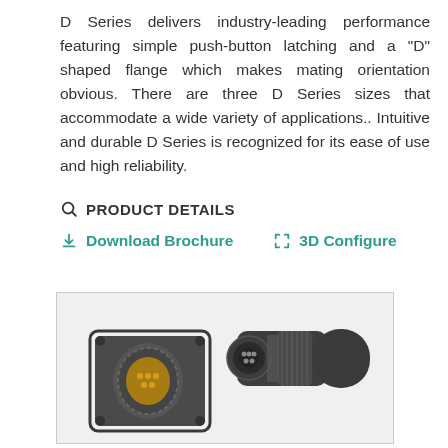D Series delivers industry-leading performance featuring simple push-button latching and a "D" shaped flange which makes mating orientation obvious. There are three D Series sizes that accommodate a wide variety of applications.. Intuitive and durable D Series is recognized for its ease of use and high reliability.
PRODUCT DETAILS
Download Brochure   3D Configure
[Figure (photo): Two D Series electrical connectors shown: a panel-mount flange connector (left) and an angled cable connector (right), both in dark grey/black finish with metallic contact areas visible.]